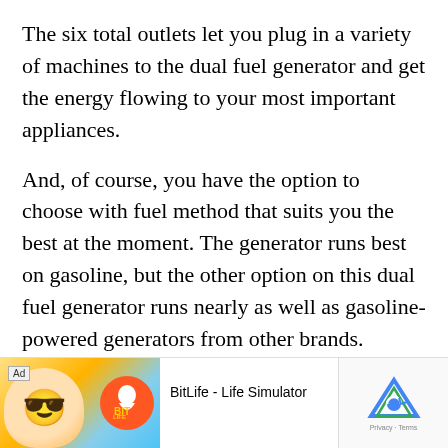The six total outlets let you plug in a variety of machines to the dual fuel generator and get the energy flowing to your most important appliances.
And, of course, you have the option to choose with fuel method that suits you the best at the moment. The generator runs best on gasoline, but the other option on this dual fuel generator runs nearly as well as gasoline-powered generators from other brands.
[Figure (other): Advertisement banner for BitLife - Life Simulator app with ad label, cartoon character, red circle icon, app name, and Install button]